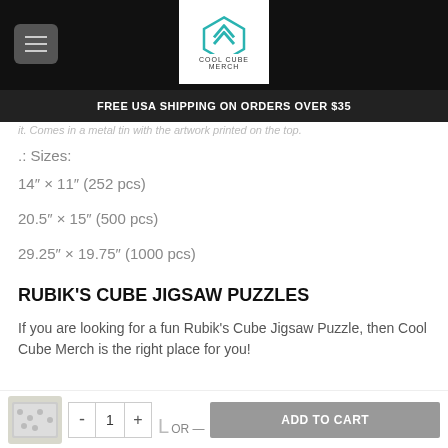Cool Cube Merch - header with logo and menu
FREE USA SHIPPING ON ORDERS OVER $35
it. Comes in a metal tin with the artwork printed on the top.
.: Sizes:
14" × 11" (252 pcs)
20.5" × 15" (500 pcs)
29.25" × 19.75" (1000 pcs)
RUBIK'S CUBE JIGSAW PUZZLES
If you are looking for a fun Rubik's Cube Jigsaw Puzzle, then Cool Cube Merch is the right place for you!